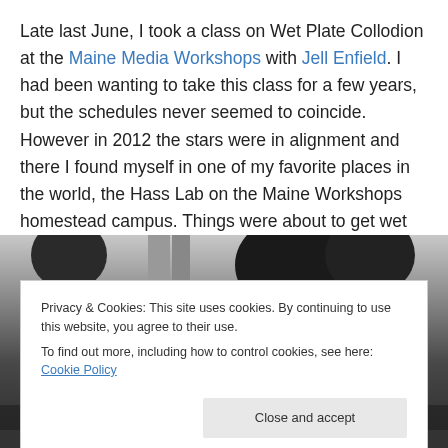Late last June, I took a class on Wet Plate Collodion at the Maine Media Workshops with Jell Enfield. I had been wanting to take this class for a few years, but the schedules never seemed to coincide. However in 2012 the stars were in alignment and there I found myself in one of my favorite places in the world, the Hass Lab on the Maine Workshops homestead campus. Things were about to get wet and some interesting images were to be taken.
[Figure (photo): Black and white photograph showing people outdoors with trees in background]
Privacy & Cookies: This site uses cookies. By continuing to use this website, you agree to their use.
To find out more, including how to control cookies, see here: Cookie Policy